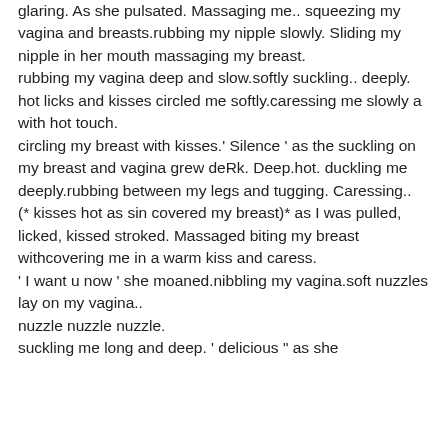glaring. As she pulsated. Massaging me.. squeezing my vagina and breasts.rubbing my nipple slowly. Sliding my nipple in her mouth massaging my breast.
rubbing my vagina deep and slow.softly suckling.. deeply.
hot licks and kisses circled me softly.caressing me slowly a with hot touch.
circling my breast with kisses.' Silence ' as the suckling on my breast and vagina grew deRk. Deep.hot. duckling me deeply.rubbing between my legs and tugging. Caressing..
(* kisses hot as sin covered my breast)* as I was pulled, licked, kissed stroked. Massaged biting my breast withcovering me in a warm kiss and caress.
' I want u now ' she moaned.nibbling my vagina.soft nuzzles lay on my vagina..
nuzzle nuzzle nuzzle.
suckling me long and deep. ' delicious " as she